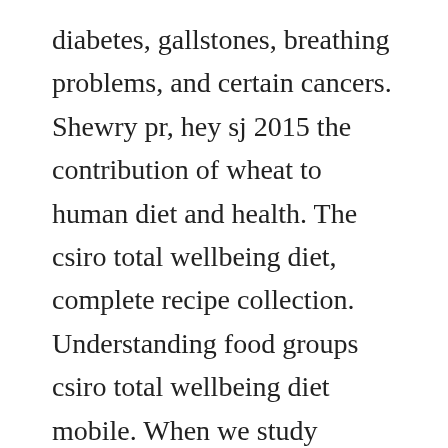diabetes, gallstones, breathing problems, and certain cancers. Shewry pr, hey sj 2015 the contribution of wheat to human diet and health. The csiro total wellbeing diet, complete recipe collection. Understanding food groups csiro total wellbeing diet mobile. When we study developmental biology we are mostly looking at a finetuned mechanical and genetic process that has been selected on for eons. Many juvenile sffs come into care at the tolga bat hospital, a privately funded community organisation. The csiro total wellbeing diet, a healthy, sustainable diet...